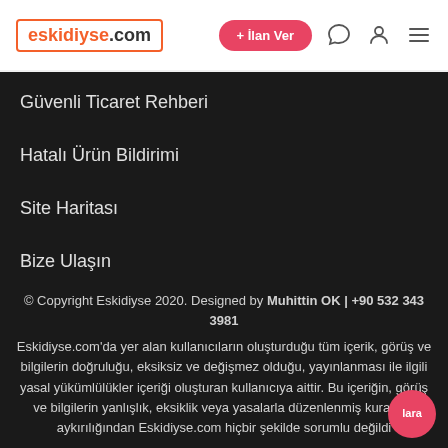eskidiyse.com | + İlan Ver
Güvenli Ticaret Rehberi
Hatalı Ürün Bildirimi
Site Haritası
Bize Ulaşın
© Copyright Eskidiyse 2020. Designed by Muhittin OK | +90 532 343 3981
Eskidiyse.com'da yer alan kullanıcıların oluşturduğu tüm içerik, görüş ve bilgilerin doğruluğu, eksiksiz ve değişmez olduğu, yayınlanması ile ilgili yasal yükümlülükler içeriği oluşturan kullanıcıya aittir. Bu içeriğin, görüş ve bilgilerin yanlışlık, eksiklik veya yasalarla düzenlenmiş kurallara aykırılığından Eskidiyse.com hiçbir şekilde sorumlu değildir.